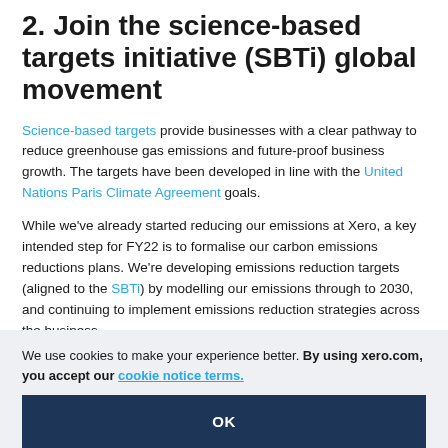2. Join the science-based targets initiative (SBTi) global movement
Science-based targets provide businesses with a clear pathway to reduce greenhouse gas emissions and future-proof business growth. The targets have been developed in line with the United Nations Paris Climate Agreement goals.
While we've already started reducing our emissions at Xero, a key intended step for FY22 is to formalise our carbon emissions reductions plans. We're developing emissions reduction targets (aligned to the SBTi) by modelling our emissions through to 2030, and continuing to implement emissions reduction strategies across the business.
We use cookies to make your experience better. By using xero.com, you accept our cookie notice terms.